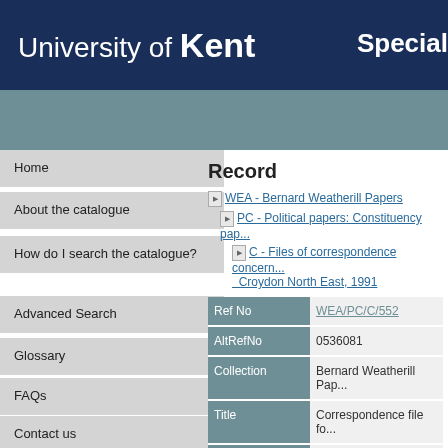University of Kent | Special
Record
WEA - Bernard Weatherill Papers
PC - Political papers: Constituency papers
C - Files of correspondence concerning Croydon North East, 1991
| Field | Value |
| --- | --- |
| Ref No | WEA/PC/C/552 |
| AltRefNo | 0536081 |
| Collection | Bernard Weatherill Pap... |
| Title | Correspondence file fo... |
| Name of creator | Kirby, George, (fl 1991) |
| Date | July 1991-August 1991 |
| Extent | 1 file |
| Description | Concerns a campaign a... |
Home
About the catalogue
How do I search the catalogue?
Advanced Search
Glossary
FAQs
Contact us
Useful links